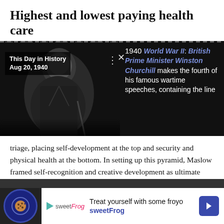Highest and lowest paying health care
[Figure (screenshot): A 'This Day in History' popup showing a black and white photo of Winston Churchill with text: 'This Day in History Aug 20, 1940' and side text reading '1940 World War II: British Prime Minister Winston Churchill makes the fourth of his famous wartime speeches, containing the line']
triage, placing self-development at the top and security and physical health at the bottom. In setting up this pyramid, Maslow framed self-recognition and creative development as ultimate goals, while also prioritizing personal safety and strong physical health.
[Figure (infographic): Advertisement bar showing a cookie icon button on dark background, and a SweetFrog frozen yogurt ad reading 'Treat yourself with some froyo sweetFrog' with navigation arrow.]